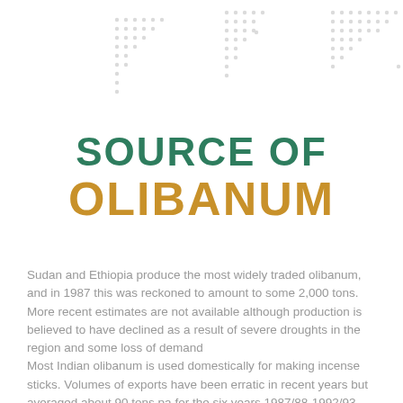[Figure (illustration): Decorative dot/circle pattern in light gray arranged in three triangular/pyramidal clusters across the top of the page]
SOURCE OF OLIBANUM
Sudan and Ethiopia produce the most widely traded olibanum, and in 1987 this was reckoned to amount to some 2,000 tons. More recent estimates are not available although production is believed to have declined as a result of severe droughts in the region and some loss of demand
Most Indian olibanum is used domestically for making incense sticks. Volumes of exports have been erratic in recent years but averaged about 90 tons pa for the six years 1987/88-1992/93